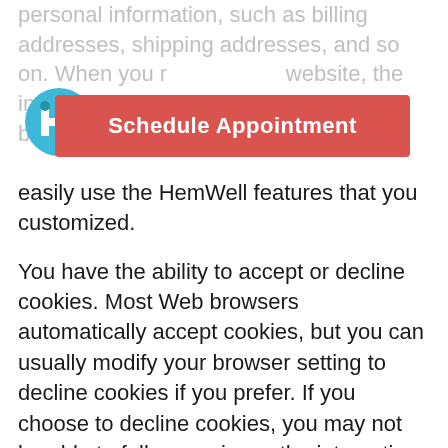personal information, such as billing addresses, shipping addresses, and so on. When you return to our website, the information you previously provided can be retrieved, so you can easily use the HemWell features that you customized.
[Figure (other): Red button overlay reading 'Schedule Appointment' with a HemWell logo circle on the left side]
You have the ability to accept or decline cookies. Most Web browsers automatically accept cookies, but you can usually modify your browser setting to decline cookies if you prefer. If you choose to decline cookies, you may not be able to fully experience the interactive features of the HemWell services or websites you visit.